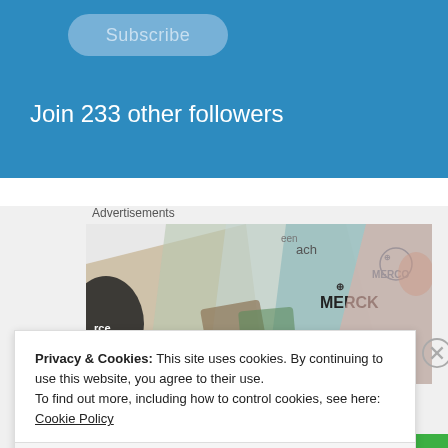Subscribe
Join 233 other followers
Advertisements
[Figure (photo): Merck pharmaceutical company branded cards/folders arranged overlapping, showing MERCK logo with cross symbol in teal/blue and pink/red color scheme]
Privacy & Cookies: This site uses cookies. By continuing to use this website, you agree to their use.
To find out more, including how to control cookies, see here: Cookie Policy
Close and accept